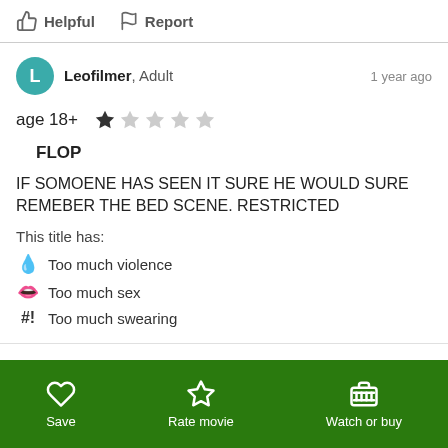Helpful  Report
Leofilmer, Adult — 1 year ago
age 18+  ★☆☆☆☆
FLOP
IF SOMOENE HAS SEEN IT SURE HE WOULD SURE REMEBER THE BED SCENE. RESTRICTED
This title has:
Too much violence
Too much sex
Too much swearing
Save  Rate movie  Watch or buy